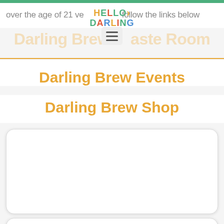over the age of 21 ve... follow the links below
[Figure (logo): Hello Darling logo with colorful letters and hamburger menu icon]
Darling Brew Taste Room
Darling Brew Events
Darling Brew Shop
[Figure (other): Large white card/content block]
[Figure (other): Small white card/content block]